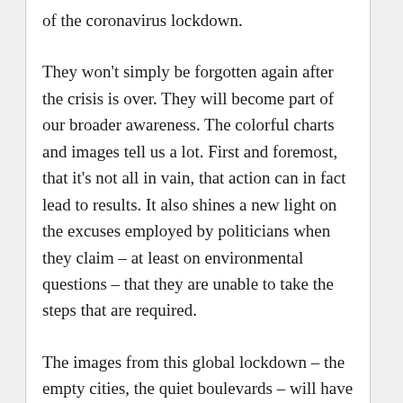of the coronavirus lockdown.
They won't simply be forgotten again after the crisis is over. They will become part of our broader awareness. The colorful charts and images tell us a lot. First and foremost, that it's not all in vain, that action can in fact lead to results. It also shines a new light on the excuses employed by politicians when they claim – at least on environmental questions – that they are unable to take the steps that are required.
The images from this global lockdown – the empty cities, the quiet boulevards – will have a lasting effect on politics. How will world leaders, after placing entire nations under house…